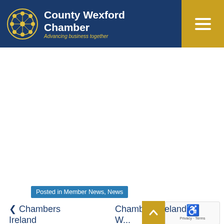County Wexford Chamber — Advancing business together
Posted in Member News, News
‹ Chambers Ireland Weekly Digest...
Chambers Ireland W... Digest...